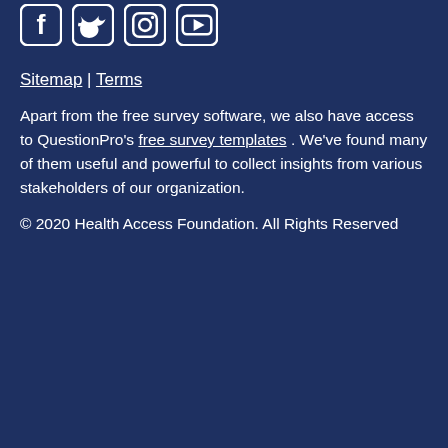[Figure (illustration): Social media icons row: Facebook, Twitter, Instagram, YouTube — white icons on dark navy blue background]
Sitemap | Terms
Apart from the free survey software, we also have access to QuestionPro's free survey templates . We've found many of them useful and powerful to collect insights from various stakeholders of our organization.
© 2020 Health Access Foundation. All Rights Reserved